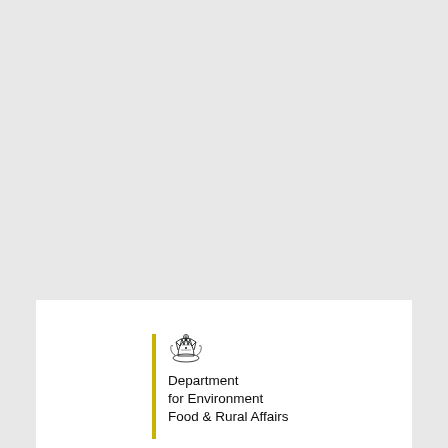[Figure (logo): UK Government Department for Environment Food & Rural Affairs logo with royal crest, yellow vertical bar, and department name text]